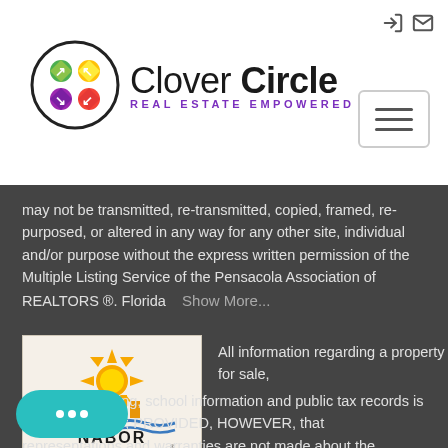Clover Circle - Real Estate Empowered
may not be transmitted, re-transmitted, copied, framed, re-purposed, or altered in any way for any other site, individual and/or purpose without the express written permission of the Multiple Listing Service of the Pensacola Association of REALTORS ®. Florida   Show More...
[Figure (logo): NABOR Naples Area Board of REALTORS logo with sun and heron illustration]
All information regarding a property for sale, rental or financing, school information and public tax records is deemed reliable; PROVIDED, HOWEVER, that representations and warranties are not made about the accuracy